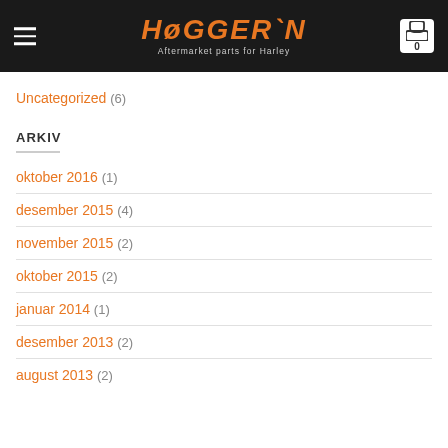HØGGER'N – Aftermarket parts for Harley
Uncategorized (6)
ARKIV
oktober 2016 (1)
desember 2015 (4)
november 2015 (2)
oktober 2015 (2)
januar 2014 (1)
desember 2013 (2)
august 2013 (2)